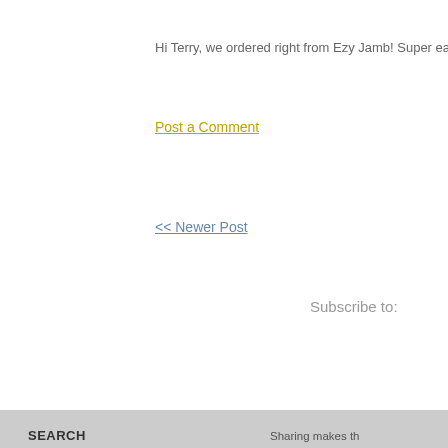Hi Terry, we ordered right from Ezy Jamb! Super easy to work
Post a Comment
<< Newer Post
Subscribe to:
SEARCH
ARCHIVE
January (16)
Sharing makes th... credit is essential... MidModMich bl... reproduced, howe... active link must a... materials.
©2014-2021 Tru... Rights Reserved.
True Home Resto... PO Box 552 Grand Haven, MI